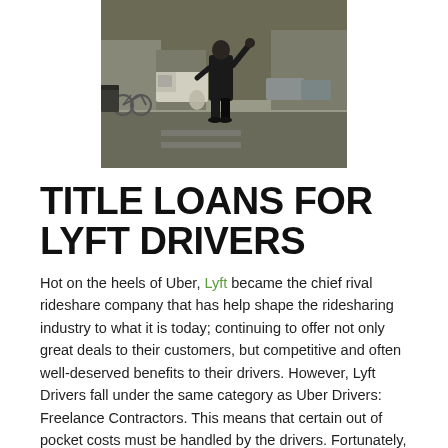[Figure (photo): A person standing on a city street with their arm raised hailing a cab, with cars and bicycles visible in the background on an urban street.]
TITLE LOANS FOR LYFT DRIVERS
Hot on the heels of Uber, Lyft became the chief rival rideshare company that has help shape the ridesharing industry to what it is today; continuing to offer not only great deals to their customers, but competitive and often well-deserved benefits to their drivers. However, Lyft Drivers fall under the same category as Uber Drivers: Freelance Contractors. This means that certain out of pocket costs must be handled by the drivers. Fortunately, Phoenix Title Loans has a solution for this: Title Loans for Lyft Drivers to cover such out of pocket costs!